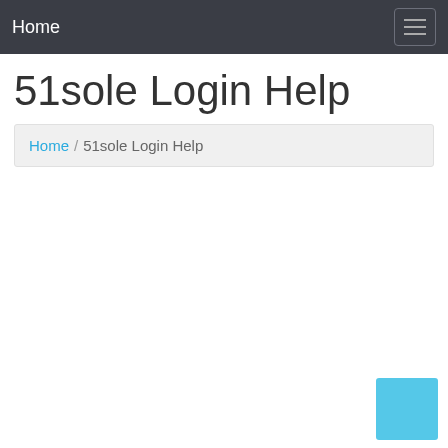Home
51sole Login Help
Home / 51sole Login Help
[Figure (other): Light blue square button in the bottom right corner]